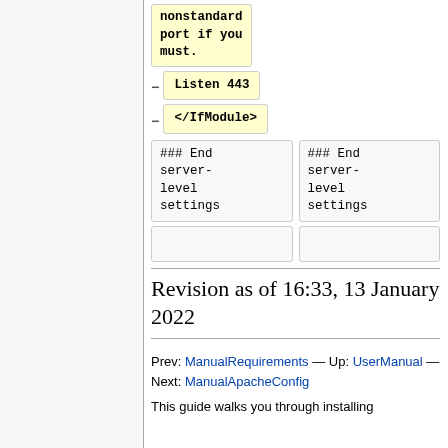[Figure (screenshot): Code diff view showing highlighted code blocks with 'nonstandard port if you must.' text in yellow background, then 'Listen 443' with minus marker, then '</IfModule>' with minus marker, followed by two-column diff with '### End server-level settings' in both columns]
Revision as of 16:33, 13 January 2022
Prev: ManualRequirements — Up: UserManual — Next: ManualApacheConfig
This guide walks you through installing